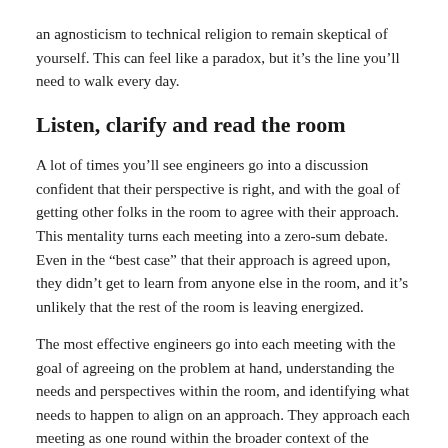an agnosticism to technical religion to remain skeptical of yourself. This can feel like a paradox, but it’s the line you’ll need to walk every day.
Listen, clarify and read the room
A lot of times you’ll see engineers go into a discussion confident that their perspective is right, and with the goal of getting other folks in the room to agree with their approach. This mentality turns each meeting into a zero-sum debate. Even in the “best case” that their approach is agreed upon, they didn’t get to learn from anyone else in the room, and it’s unlikely that the rest of the room is leaving energized.
The most effective engineers go into each meeting with the goal of agreeing on the problem at hand, understanding the needs and perspectives within the room, and identifying what needs to happen to align on an approach. They approach each meeting as one round within the broader context of the project and their